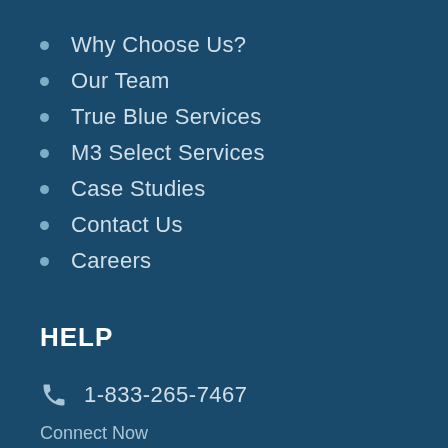Why Choose Us?
Our Team
True Blue Services
M3 Select Services
Case Studies
Contact Us
Careers
HELP
1-833-265-7467
Connect Now